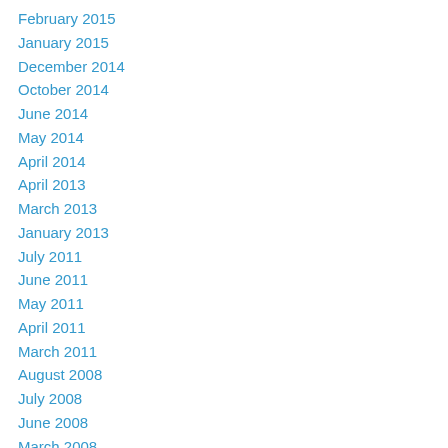February 2015
January 2015
December 2014
October 2014
June 2014
May 2014
April 2014
April 2013
March 2013
January 2013
July 2011
June 2011
May 2011
April 2011
March 2011
August 2008
July 2008
June 2008
March 2008
February 2008